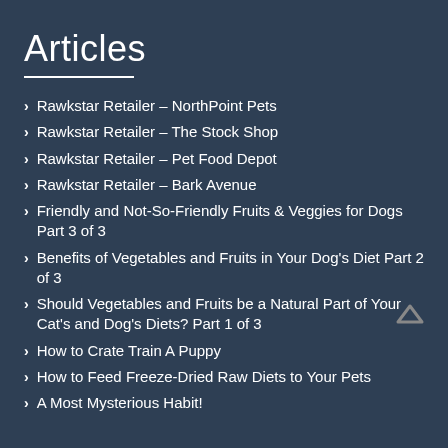Articles
Rawkstar Retailer – NorthPoint Pets
Rawkstar Retailer – The Stock Shop
Rawkstar Retailer – Pet Food Depot
Rawkstar Retailer – Bark Avenue
Friendly and Not-So-Friendly Fruits & Veggies for Dogs Part 3 of 3
Benefits of Vegetables and Fruits in Your Dog's Diet Part 2 of 3
Should Vegetables and Fruits be a Natural Part of Your Cat's and Dog's Diets? Part 1 of 3
How to Crate Train A Puppy
How to Feed Freeze-Dried Raw Diets to Your Pets
A Most Mysterious Habit!